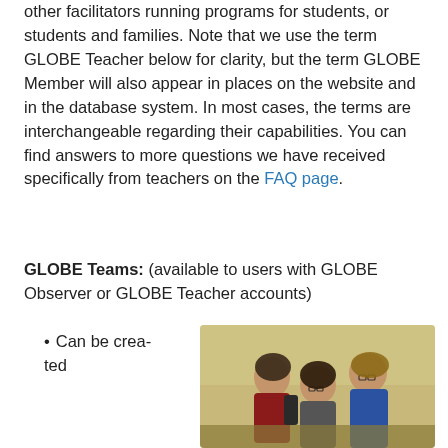other facilitators running programs for students, or students and families. Note that we use the term GLOBE Teacher below for clarity, but the term GLOBE Member will also appear in places on the website and in the database system. In most cases, the terms are interchangeable regarding their capabilities. You can find answers to more questions we have received specifically from teachers on the FAQ page.
GLOBE Teams: (available to users with GLOBE Observer or GLOBE Teacher accounts)
Can be created
[Figure (photo): Three women leaning together looking at something, outdoors with a field background]